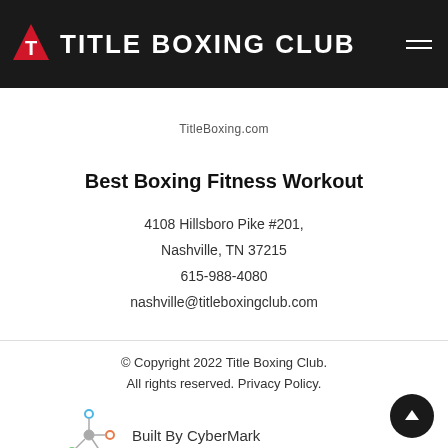TITLE BOXING CLUB
TitleBoxing.com
Best Boxing Fitness Workout
4108 Hillsboro Pike #201,
Nashville, TN 37215
615-988-4080
nashville@titleboxingclub.com
© Copyright 2022 Title Boxing Club. All rights reserved. Privacy Policy.
[Figure (logo): CyberMark logo — colorful network/node icon with lines connecting colored circles]
Built By CyberMark